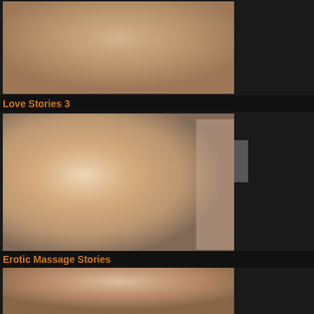[Figure (photo): Blurred intimate photo of two people on white bedding - top portion of page]
Love Stories 3
[Figure (photo): Blurred intimate massage photo with two people in a room with candles]
Erotic Massage Stories
[Figure (photo): Partially visible intimate photo at bottom of page]